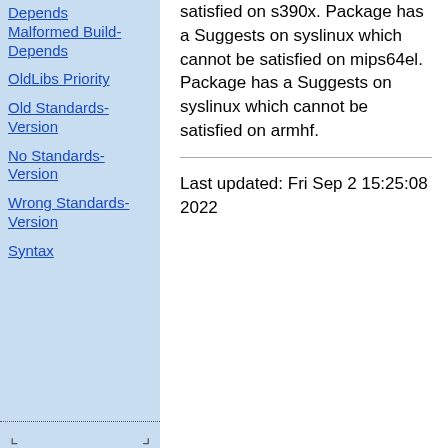Depends Malformed Build-Depends
OldLibs Priority
Old Standards-Version
No Standards-Version
Wrong Standards-Version
Syntax
satisfied on s390x. Package has a Suggests on syslinux which cannot be satisfied on mips64el. Package has a Suggests on syslinux which cannot be satisfied on armhf.
Last updated: Fri Sep 2 15:25:08 2022